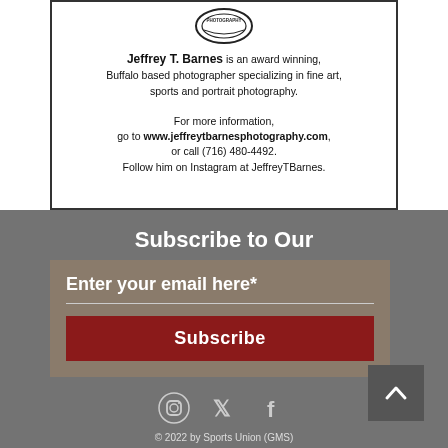[Figure (logo): Circular photography logo/stamp at top of advertisement box]
Jeffrey T. Barnes is an award winning, Buffalo based photographer specializing in fine art, sports and portrait photography.

For more information, go to www.jeffreytbarnesphotography.com, or call (716) 480-4492. Follow him on Instagram at JeffreyTBarnes.
Subscribe to Our Newsletter
Enter your email here*
Subscribe
[Figure (infographic): Back to top arrow button]
[Figure (infographic): Social media icons: Instagram, Twitter, Facebook]
© 2022 by Sports Union (GMS)